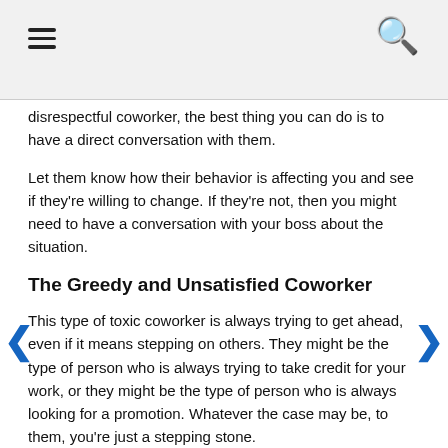[hamburger menu icon] [search icon]
disrespectful coworker, the best thing you can do is to have a direct conversation with them.
Let them know how their behavior is affecting you and see if they're willing to change. If they're not, then you might need to have a conversation with your boss about the situation.
The Greedy and Unsatisfied Coworker
This type of toxic coworker is always trying to get ahead, even if it means stepping on others. They might be the type of person who is always trying to take credit for your work, or they might be the type of person who is always looking for a promotion. Whatever the case may be, to them, you're just a stepping stone.
The best way to deal with a greedy and unsatisfied coworker is to simply stay away from them. If you can, avoid working with them altogether. If you have to work with them, try to keep your interactions to a minimum.